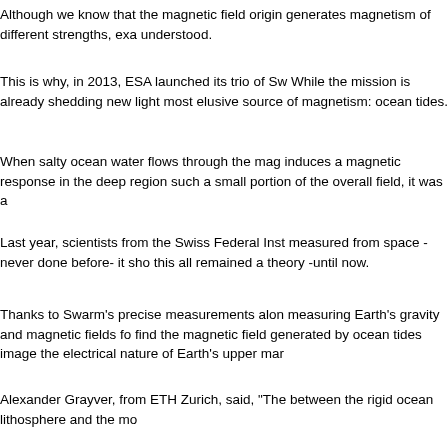Although we know that the magnetic field origin... generates magnetism of different strengths, exa... understood.
This is why, in 2013, ESA launched its trio of Sw... While the mission is already shedding new light... most elusive source of magnetism: ocean tides.
When salty ocean water flows through the mag... induces a magnetic response in the deep regio... such a small portion of the overall field, it was a...
Last year, scientists from the Swiss Federal Inst... measured from space -never done before- it sh... this all remained a theory -until now.
Thanks to Swarm's precise measurements alon... measuring Earth's gravity and magnetic fields f... find the magnetic field generated by ocean tides... image the electrical nature of Earth's upper mar...
Alexander Grayver, from ETH Zurich, said, "The... between the rigid ocean lithosphere and the mo...
The lithosphere is the rigid outer part of the eart... asthenosphere lies just below the lithosphere a...
"Effectively, 'geo-electric sounding from space', ...
"These new results are important for understand... lithosphere consists of rigid plates that glide on... lubricant, enabling plate motion."
Roger Haagmans, ESA's Swarm mission scient...